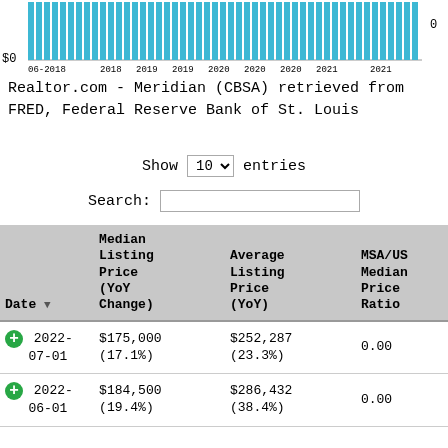[Figure (bar-chart): Top portion of a bar chart showing data from 06-2018 to 2021, with $0 label on y-axis and 0 on right axis. Teal/blue bars filling the chart area.]
Realtor.com - Meridian (CBSA) retrieved from FRED, Federal Reserve Bank of St. Louis
Show 10 entries
Search:
| Date | Median Listing Price (YoY Change) | Average Listing Price (YoY) | MSA/US Median Price Ratio |
| --- | --- | --- | --- |
| 2022-07-01 | $175,000 (17.1%) | $252,287 (23.3%) | 0.00 |
| 2022-06-01 | $184,500 (19.4%) | $286,432 (38.4%) | 0.00 |